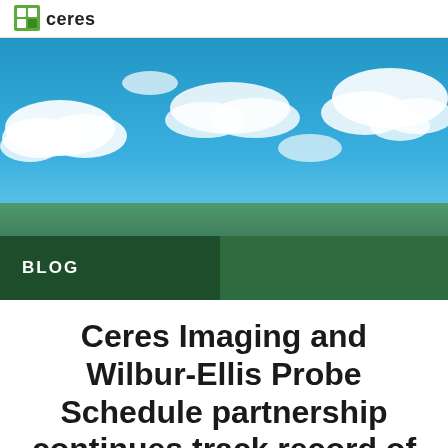Ceres
[Figure (photo): Blue sky with white clouds, landscape banner image]
BLOG
Ceres Imaging and Wilbur-Ellis Probe Schedule partnership continues track record of